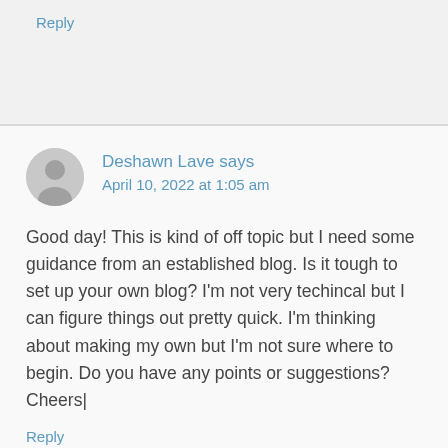Reply
Deshawn Lave says
April 10, 2022 at 1:05 am
Good day! This is kind of off topic but I need some guidance from an established blog. Is it tough to set up your own blog? I'm not very techincal but I can figure things out pretty quick. I'm thinking about making my own but I'm not sure where to begin. Do you have any points or suggestions? Cheers|
Reply